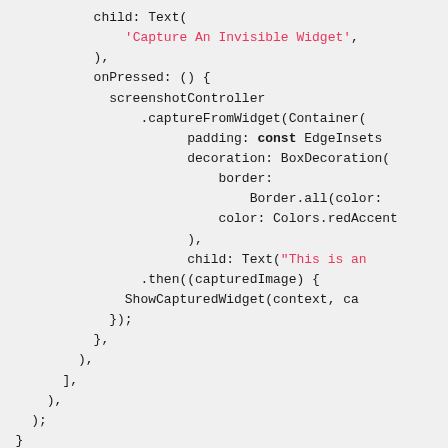[Figure (screenshot): A code snippet in Dart/Flutter showing child: Text('Capture An Invisible Widget'), onPressed callback with screenshotController.captureFromWidget(Container with padding, decoration, border, color, child), .then callback with ShowCapturedWidget, followed by Future<dynamic> ShowCapturedWidget function definition and return showDialog with useSafeArea: false]